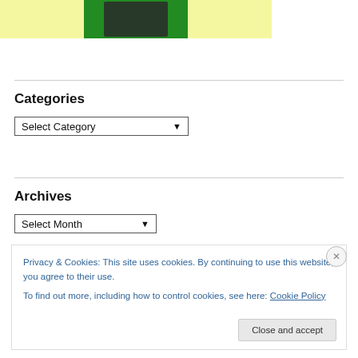[Figure (photo): Partial view of a yellow-background image with a green rectangle containing a dark/shadowed figure or scene]
Categories
Select Category (dropdown)
Archives
Select Month (dropdown)
Privacy & Cookies: This site uses cookies. By continuing to use this website, you agree to their use.
To find out more, including how to control cookies, see here: Cookie Policy